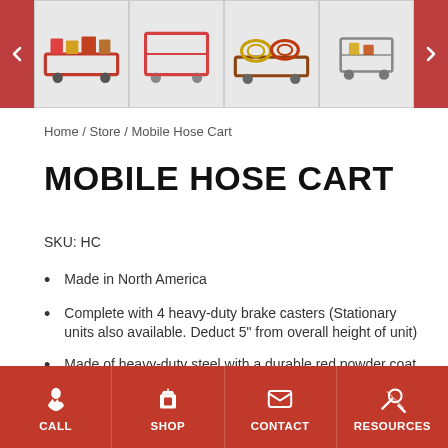[Figure (photo): Image strip carousel showing 4 thumbnail photos of Mobile Hose Cart with left/right navigation arrows]
Home / Store / Mobile Hose Cart
MOBILE HOSE CART
SKU: HC
Made in North America
Complete with 4 heavy-duty brake casters (Stationary units also available. Deduct 5" from overall height of unit)
Made of heavy-duty steel with a durable red powder coat finish
Can easily support 100' coils
Can be used with Hose Winder (HW-1)
CALL  SHOP  CONTACT  RESOURCES